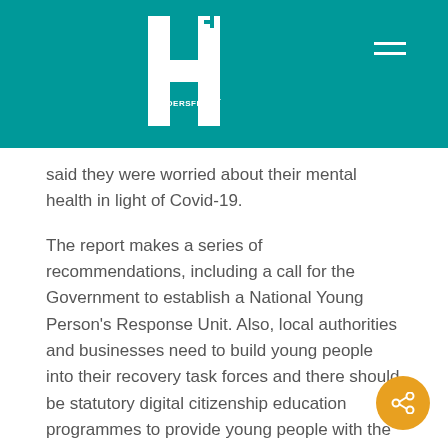[Figure (logo): Huddersfield Plus logo — white H letterform with HUDDERSFIELD+ text on teal background, with hamburger menu icon top right]
said they were worried about their mental health in light of Covid-19.
The report makes a series of recommendations, including a call for the Government to establish a National Young Person's Response Unit.  Also, local authorities and businesses need to build young people into their recovery task forces and there should be statutory digital citizenship education programmes to provide young people with the digital literacy to equip them for life in the ‘new normal’.